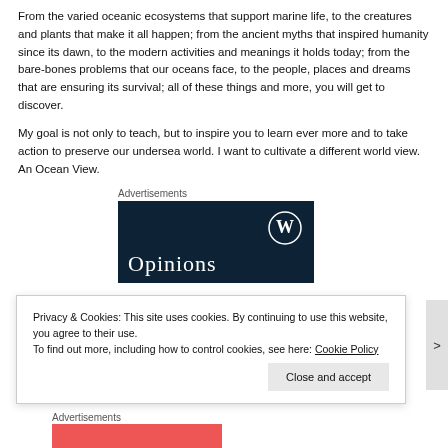From the varied oceanic ecosystems that support marine life, to the creatures and plants that make it all happen; from the ancient myths that inspired humanity since its dawn, to the modern activities and meanings it holds today; from the bare-bones problems that our oceans face, to the people, places and dreams that are ensuring its survival; all of these things and more, you will get to discover.
My goal is not only to teach, but to inspire you to learn ever more and to take action to preserve our undersea world. I want to cultivate a different world view. An Ocean View.
Advertisements
[Figure (other): Dark navy blue advertisement box with WordPress logo in upper right and 'Opinions' text in serif font at bottom left]
Privacy & Cookies: This site uses cookies. By continuing to use this website, you agree to their use.
To find out more, including how to control cookies, see here: Cookie Policy
Close and accept
Advertisements